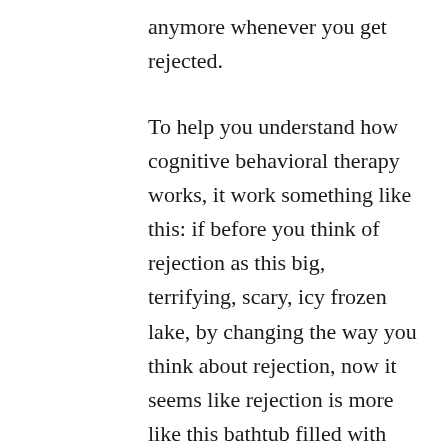anymore whenever you get rejected.
To help you understand how cognitive behavioral therapy works, it work something like this: if before you think of rejection as this big, terrifying, scary, icy frozen lake, by changing the way you think about rejection, now it seems like rejection is more like this bathtub filled with lukewarm bath water.